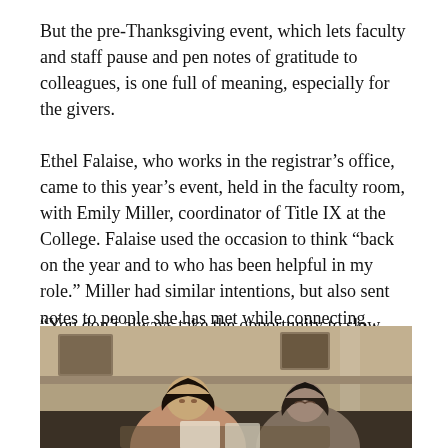But the pre-Thanksgiving event, which lets faculty and staff pause and pen notes of gratitude to colleagues, is one full of meaning, especially for the givers.
Ethel Falaise, who works in the registrar's office, came to this year's event, held in the faculty room, with Emily Miller, coordinator of Title IX at the College. Falaise used the occasion to think “back on the year and to who has been helpful in my role.” Miller had similar intentions, but also sent notes to people she has met while connecting across divisions.
“You don’t always take the opportunity to slow down,” she said. “This provides a nice touchpoint.”
[Figure (photo): Two people sitting together in what appears to be a formal faculty room with classical architectural details visible in the background.]